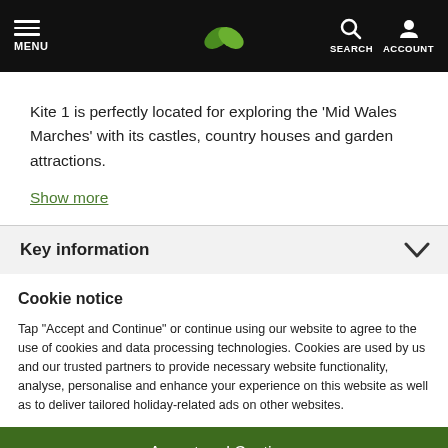MENU | [logo] | SEARCH ACCOUNT
Kite 1 is perfectly located for exploring the ‘Mid Wales Marches’ with its castles, country houses and garden attractions.
Show more
Key information
Cookie notice
Tap “Accept and Continue” or continue using our website to agree to the use of cookies and data processing technologies. Cookies are used by us and our trusted partners to provide necessary website functionality, analyse, personalise and enhance your experience on this website as well as to deliver tailored holiday-related ads on other websites.
Accept and Continue